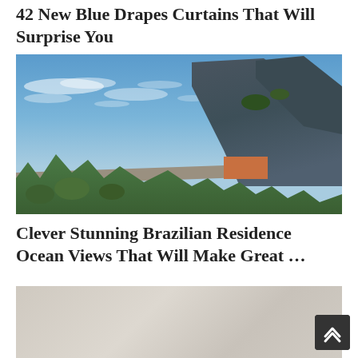42 New Blue Drapes Curtains That Will Surprise You
[Figure (photo): Exterior view of a modernist concrete Brazilian residence with large horizontal beams, an orange accent element, set against a dramatic rocky mountain cliff and blue sky with wispy clouds, surrounded by tropical greenery.]
Clever Stunning Brazilian Residence Ocean Views That Will Make Great …
[Figure (photo): Partial view of a light gray interior or exterior surface, partially cut off at the bottom of the page.]